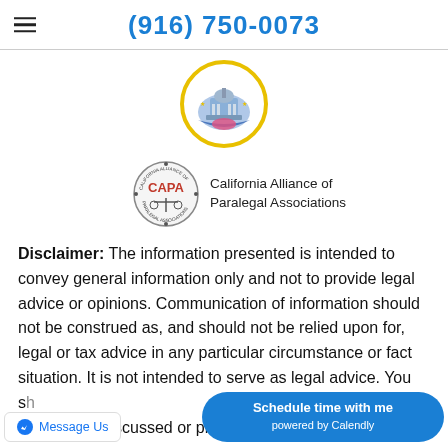(916) 750-0073
[Figure (logo): Circular logo with capitol building and ribbon design, yellow border]
[Figure (logo): CAPA circular seal logo beside text: California Alliance of Paralegal Associations]
Disclaimer: The information presented is intended to convey general information only and not to provide legal advice or opinions. Communication of information should not be construed as, and should not be relied upon for, legal or tax advice in any particular circumstance or fact situation. It is not intended to serve as legal advice. You s[hould consult an attorney about any specific legal matter.] information discussed or pr[esented...]
Message Us
Schedule time with me powered by Calendly